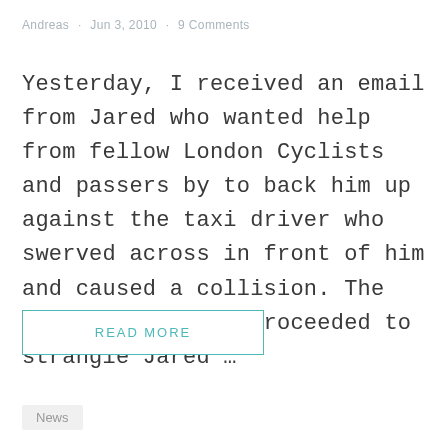Andreas · Jun 3, 2010 · 9 Comments
Yesterday, I received an email from Jared who wanted help from fellow London Cyclists and passers by to back him up against the taxi driver who swerved across in front of him and caused a collision. The taxi driver then proceeded to strangle Jared …
READ MORE
News